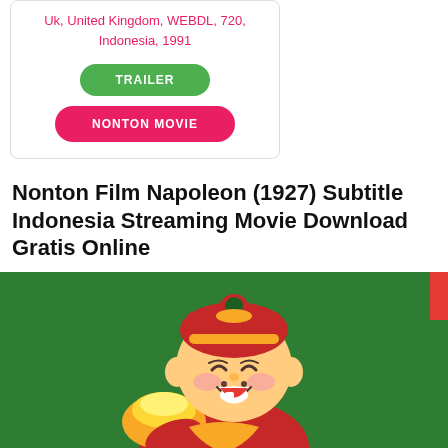Uk, United Kingdom, WEBDL, 720, Indonesia, 1991
TRAILER
NONTON MOVIE
Nonton Film Napoleon (1927) Subtitle Indonesia Streaming Movie Download Gratis Online
[Figure (illustration): Cartoon Chinese fortune god mascot holding a golden ingot, smiling, on a dark green background with a red accent block top right.]